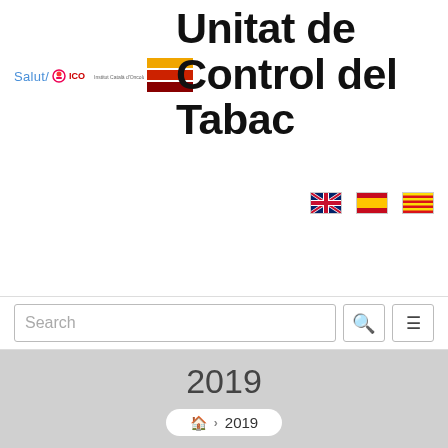[Figure (logo): Salut / ICO (Institut Català d'Oncologia) logo with red circle and text, plus striped logo in red/yellow/dark red]
Unitat de Control del Tabac
[Figure (infographic): Three language flag icons: UK flag (English), Spanish flag, and Catalan flag]
Search
2019
🏠 › 2019